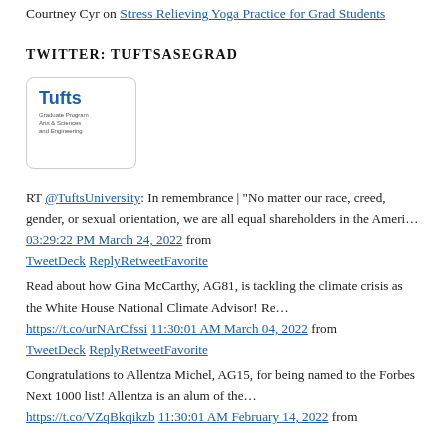Courtney Cyr on Stress Relieving Yoga Practice for Grad Students
TWITTER: TUFTSASEGRAD
[Figure (logo): Tufts University Graduate School of Arts & Sciences and Engineering logo in a rounded square box]
RT @TuftsUniversity: In remembrance | “No matter our race, creed, gender, or sexual orientation, we are all equal shareholders in the Ameri… 03:29:22 PM March 24, 2022 from TweetDeck ReplyRetweetFavorite
Read about how Gina McCarthy, AG81, is tackling the climate crisis as the White House National Climate Advisor! Re… https://t.co/urNArCfssi 11:30:01 AM March 04, 2022 from TweetDeck ReplyRetweetFavorite
Congratulations to Allentza Michel, AG15, for being named to the Forbes Next 1000 list! Allentza is an alum of the… https://t.co/VZqBkqikzb 11:30:01 AM February 14, 2022 from